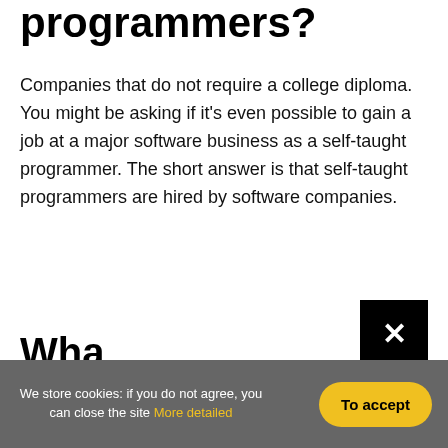programmers?
Companies that do not require a college diploma. You might be asking if it's even possible to gain a job at a major software business as a self-taught programmer. The short answer is that self-taught programmers are hired by software companies.
Wha
[Figure (other): Black close/dismiss button with white X icon]
On any [obscured] be working [obscured] and testing [obscured] r daily respon [obscured]
We store cookies: if you do not agree, you can close the site More detailed | To accept